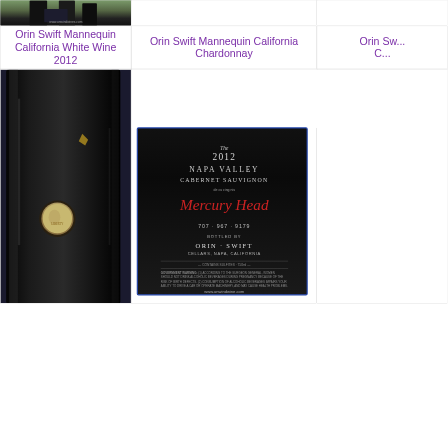[Figure (photo): Top portion of wine bottles, dark bottles with labels, website www.unwindwines.com visible]
[Figure (photo): Empty/white cell in grid]
[Figure (photo): Empty/white cell in grid - partially visible with 'Orin Sw...' text cut off]
Orin Swift Mannequin California White Wine 2012
Orin Swift Mannequin California Chardonnay
Orin Sw... C...
[Figure (photo): Close-up of dark wine bottle with mercury dime embedded in wax seal, black bottle]
[Figure (photo): Wine bottle back label: 2012 Napa Valley Cabernet Sauvignon, Mercury Head, 707-967-9179, Bottled by Orin Swift Cellars Napa California, www.unwindwine.com]
[Figure (photo): Partially visible third column image]